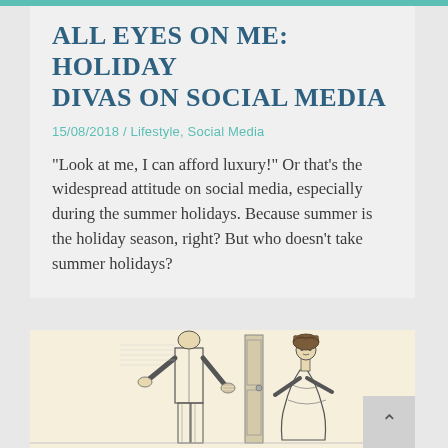All eyes on me: Holiday divas on social media
15/08/2018 / Lifestyle, Social Media
“Look at me, I can afford luxury!” Or that’s the widespread attitude on social media, especially during the summer holidays. Because summer is the holiday season, right? But who doesn’t take summer holidays?
[Figure (illustration): Vintage black and white line illustration showing two figures, one appearing to be a man in formal attire and one a woman with an elaborate hairstyle, in a Victorian or Edwardian style.]